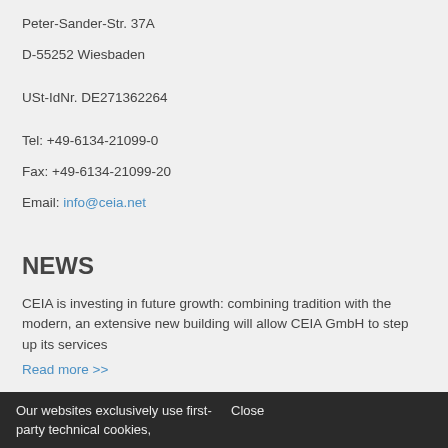Peter-Sander-Str. 37A
D-55252 Wiesbaden
USt-IdNr. DE271362264
Tel: +49-6134-21099-0
Fax: +49-6134-21099-20
Email: info@ceia.net
NEWS
CEIA is investing in future growth: combining tradition with the modern, an extensive new building will allow CEIA GmbH to step up its services
Read more >>
Dr. Hilmar Walde new Managing Director for CEIA GmbH in Eltville/Germany
Read more >>
Our websites exclusively use first-party technical cookies,